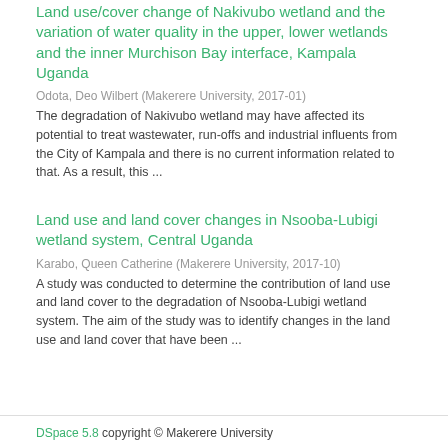Land use/cover change of Nakivubo wetland and the variation of water quality in the upper, lower wetlands and the inner Murchison Bay interface, Kampala Uganda
Odota, Deo Wilbert (Makerere University, 2017-01)
The degradation of Nakivubo wetland may have affected its potential to treat wastewater, run-offs and industrial influents from the City of Kampala and there is no current information related to that. As a result, this ...
Land use and land cover changes in Nsooba-Lubigi wetland system, Central Uganda
Karabo, Queen Catherine (Makerere University, 2017-10)
A study was conducted to determine the contribution of land use and land cover to the degradation of Nsooba-Lubigi wetland system. The aim of the study was to identify changes in the land use and land cover that have been ...
DSpace 5.8 copyright © Makerere University